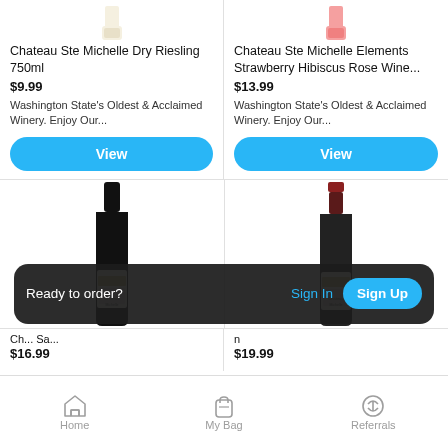[Figure (photo): Top cropped view of a white wine bottle (Chateau Ste Michelle)]
[Figure (photo): Top cropped view of a rose wine bottle (Chateau Ste Michelle Elements)]
Chateau Ste Michelle Dry Riesling 750ml
$9.99
Washington State's Oldest & Acclaimed Winery. Enjoy Our...
Chateau Ste Michelle Elements Strawberry Hibiscus Rose Wine...
$13.99
Washington State's Oldest & Acclaimed Winery. Enjoy Our...
[Figure (photo): Full dark wine bottle with label (Chateau Ste Michelle red/Cabernet)]
[Figure (photo): Full dark wine bottle with label (Chateau Ste Michelle red/Cabernet)]
Ch... Sa... $16.99
$19.99
Ready to order?
Sign In
Sign Up
Home
My Bag
Referrals